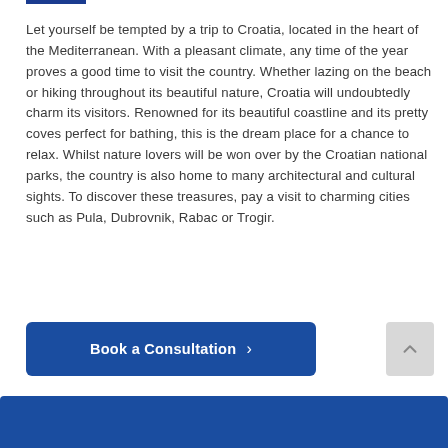Let yourself be tempted by a trip to Croatia, located in the heart of the Mediterranean. With a pleasant climate, any time of the year proves a good time to visit the country. Whether lazing on the beach or hiking throughout its beautiful nature, Croatia will undoubtedly charm its visitors. Renowned for its beautiful coastline and its pretty coves perfect for bathing, this is the dream place for a chance to relax. Whilst nature lovers will be won over by the Croatian national parks, the country is also home to many architectural and cultural sights. To discover these treasures, pay a visit to charming cities such as Pula, Dubrovnik, Rabac or Trogir.
Book a Consultation ›